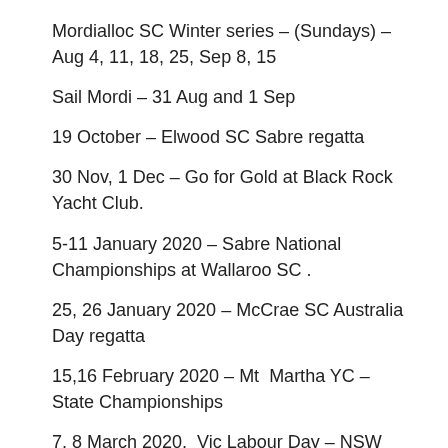Mordialloc SC Winter series – (Sundays) – Aug 4, 11, 18, 25, Sep 8, 15
Sail Mordi – 31 Aug and 1 Sep
19 October – Elwood SC Sabre regatta
30 Nov, 1 Dec – Go for Gold at Black Rock Yacht Club.
5-11 January 2020 – Sabre National Championships at Wallaroo SC .
25, 26 January 2020 – McCrae SC Australia Day regatta
15,16 February 2020 – Mt  Martha YC – State Championships
7, 8 March 2020,  Vic Labour Day – NSW State Championships/Interstate Challenge, on the south coast of NSW at Lake Wallagoot near the lovely town of Tathra.
28 March 2020 – Teams race at Mordialloc SC
June 2020 – Albert SC – Winter regatta